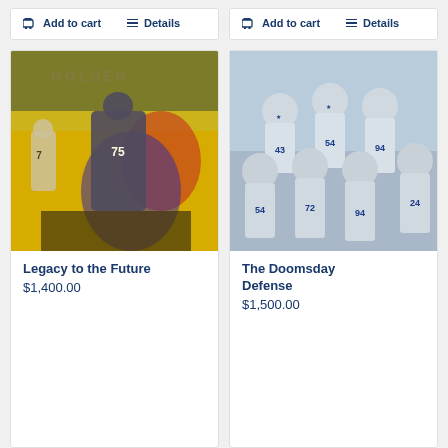Add to cart   Details
Add to cart   Details
[Figure (illustration): Sports art painting of Pittsburgh Steelers football players in action, abstract colorful background with yellows, purples and reds]
Legacy to the Future
$1,400.00
[Figure (illustration): Sports art illustration of Dallas Cowboys defensive players in white uniforms grouped together, showing jersey numbers including 54, 72, 94]
The Doomsday Defense
$1,500.00